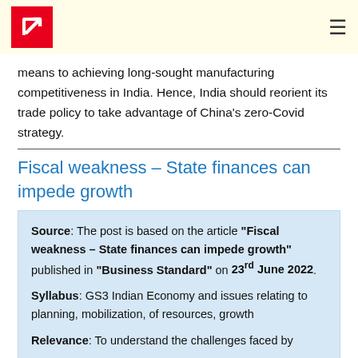[Logo] [Hamburger menu]
means to achieving long-sought manufacturing competitiveness in India. Hence, India should reorient its trade policy to take advantage of China's zero-Covid strategy.
Fiscal weakness – State finances can impede growth
Source: The post is based on the article "Fiscal weakness – State finances can impede growth" published in "Business Standard" on 23rd June 2022. Syllabus: GS3 Indian Economy and issues relating to planning, mobilization, of resources, growth Relevance: To understand the challenges faced by